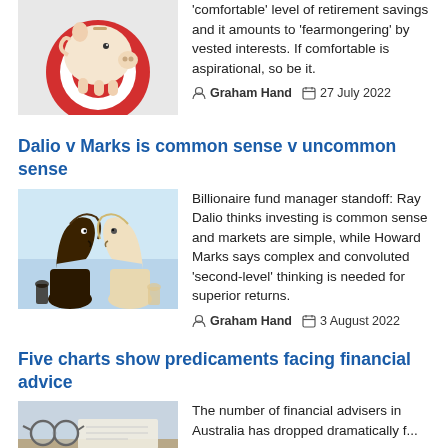'comfortable' level of retirement savings and it amounts to 'fearmongering' by vested interests. If comfortable is aspirational, so be it.
Graham Hand  27 July 2022
Dalio v Marks is common sense v uncommon sense
[Figure (photo): Two chess knight pieces facing each other - one dark wood and one light wood - against a light blue background]
Billionaire fund manager standoff: Ray Dalio thinks investing is common sense and markets are simple, while Howard Marks says complex and convoluted 'second-level' thinking is needed for superior returns.
Graham Hand  3 August 2022
Five charts show predicaments facing financial advice
[Figure (photo): Financial advice related image - appears to show glasses and documents on a desk]
The number of financial advisers in Australia has dropped dramatically f...